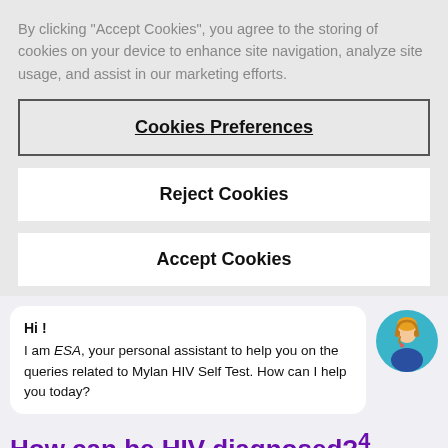By clicking “Accept Cookies”, you agree to the storing of cookies on your device to enhance site navigation, analyze site usage, and assist in our marketing efforts.
Cookies Preferences
Reject Cookies
Accept Cookies
Hi ! I am ESA, your personal assistant to help you on the queries related to Mylan HIV Self Test. How can I help you today?
[Figure (illustration): Customer support avatar: a person wearing a headset, illustrated in flat design with teal/blue colors on a circular blue background.]
How can be HIV diagnosed?⁴